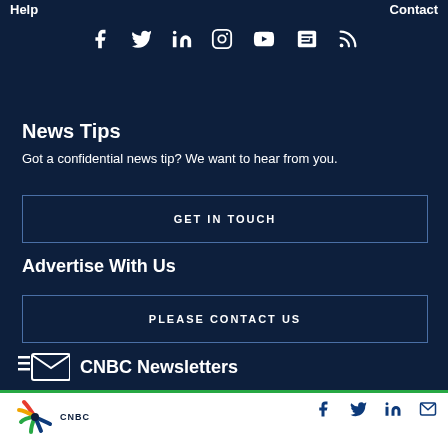Help    Contact
[Figure (other): Social media icons row: Facebook, Twitter, LinkedIn, Instagram, YouTube, Apple News, RSS]
News Tips
Got a confidential news tip? We want to hear from you.
GET IN TOUCH
Advertise With Us
PLEASE CONTACT US
CNBC Newsletters
CNBC logo with social icons: Facebook, Twitter, LinkedIn, Email